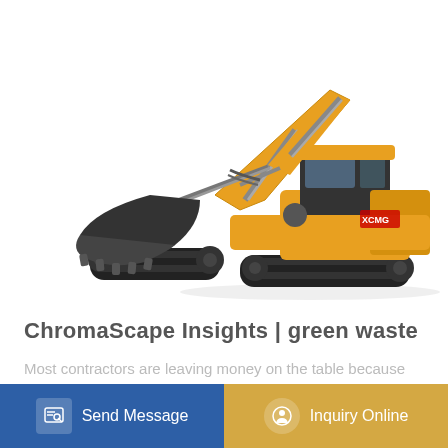[Figure (photo): Yellow XCMG hydraulic excavator on white background, shown in profile with arm extended and bucket lowered]
ChromaScape Insights | green waste
Most contractors are leaving money on the table because